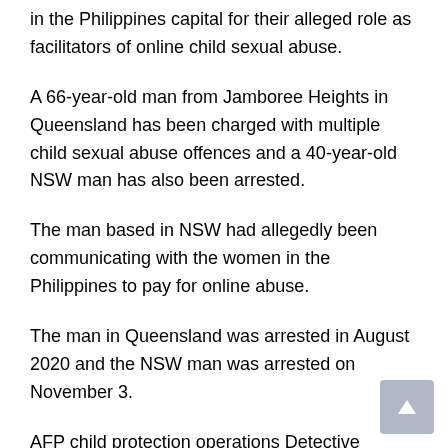in the Philippines capital for their alleged role as facilitators of online child sexual abuse.
A 66-year-old man from Jamboree Heights in Queensland has been charged with multiple child sexual abuse offences and a 40-year-old NSW man has also been arrested.
The man based in NSW had allegedly been communicating with the women in the Philippines to pay for online abuse.
The man in Queensland was arrested in August 2020 and the NSW man was arrested on November 3.
AFP child protection operations Detective Superintendent Paula Hudson said officers